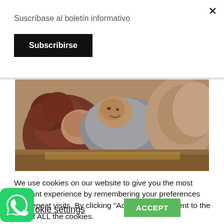×
Suscríbase al boletín informativo
Subscribirse
[Figure (photo): Close-up painting of two cherubs (putti) resting together, rendered in a Baroque/Rococo style with warm earthy tones, painted on canvas.]
We use cookies on our website to give you the most relevant experience by remembering your preferences and repeat visits. By clicking "Accept", you consent to the use of ALL the cookies.
[Figure (logo): WhatsApp green circular logo with white phone handset icon]
okie settings
ACCEPT